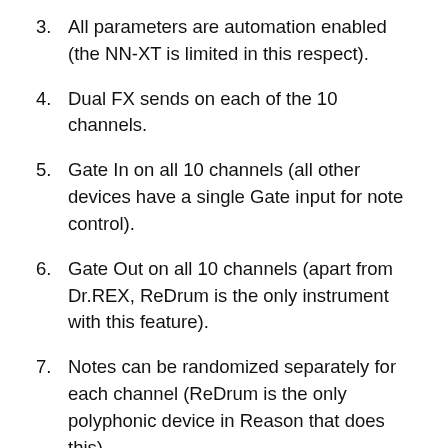3. All parameters are automation enabled (the NN-XT is limited in this respect).
4. Dual FX sends on each of the 10 channels.
5. Gate In on all 10 channels (all other devices have a single Gate input for note control).
6. Gate Out on all 10 channels (apart from Dr.REX, ReDrum is the only instrument with this feature).
7. Notes can be randomized separately for each channel (ReDrum is the only polyphonic device in Reason that does this)
8. Easy “live browsing” – let the ReDrum play on while you use the channel specific Next/Previous sample buttons to quickly find